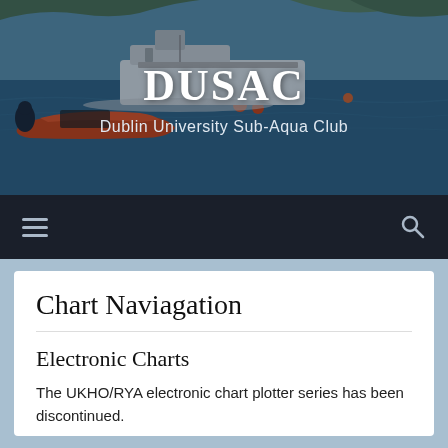[Figure (photo): Header photo showing a harbour scene with boats on blue water, green hills in background. A white fishing boat and an orange RIB are visible.]
DUSAC
Dublin University Sub-Aqua Club
[Figure (other): Navigation bar with hamburger menu icon on left and search icon on right, dark background]
Chart Naviagation
Electronic Charts
The UKHO/RYA electronic chart plotter series has been discontinued.